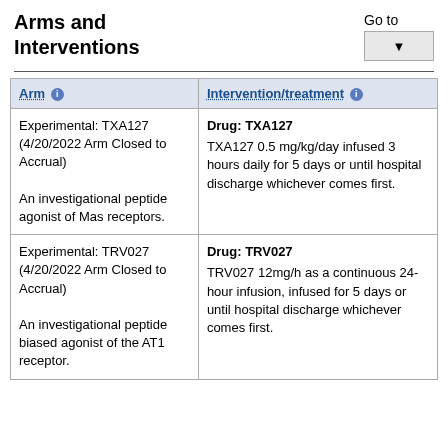Arms and Interventions
Go to
| Arm | Intervention/treatment |
| --- | --- |
| Experimental: TXA127 (4/20/2022 Arm Closed to Accrual)
An investigational peptide agonist of Mas receptors. | Drug: TXA127
TXA127 0.5 mg/kg/day infused 3 hours daily for 5 days or until hospital discharge whichever comes first. |
| Experimental: TRV027 (4/20/2022 Arm Closed to Accrual)
An investigational peptide biased agonist of the AT1 receptor. | Drug: TRV027
TRV027 12mg/h as a continuous 24-hour infusion, infused for 5 days or until hospital discharge whichever comes first. |